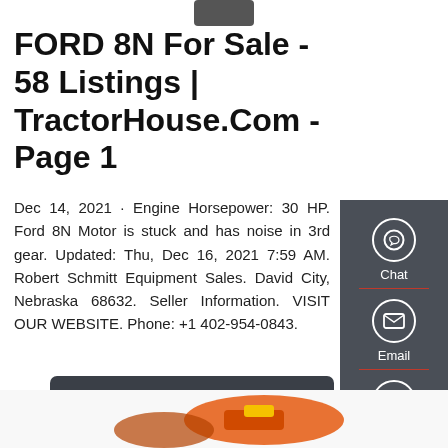[Figure (photo): Partial image of a tractor at the top of the page]
FORD 8N For Sale - 58 Listings | TractorHouse.Com - Page 1
Dec 14, 2021 · Engine Horsepower: 30 HP. Ford 8N Motor is stuck and has noise in 3rd gear. Updated: Thu, Dec 16, 2021 7:59 AM. Robert Schmitt Equipment Sales. David City, Nebraska 68632. Seller Information. VISIT OUR WEBSITE. Phone: +1 402-954-0843.
[Figure (screenshot): Sidebar with Chat, Email, and Contact icons on dark background]
Get a Quote
[Figure (photo): Partial image of orange farm equipment at the bottom of the page]